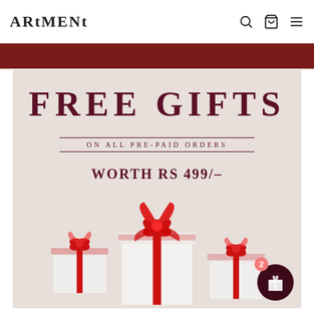ARTMENT
[Figure (illustration): Promotional banner showing 'FREE GIFTS ON ALL PRE-PAID ORDERS WORTH RS 499/-' with three white gift boxes with red ribbons and bows on a beige background. A floating dark circle button with a gift icon and badge showing '2' is in the bottom right.]